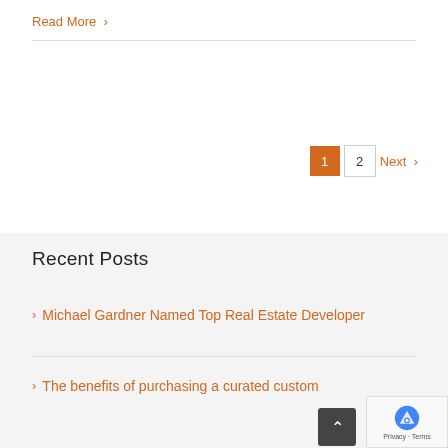Read More >
1  2  Next >
Recent Posts
> Michael Gardner Named Top Real Estate Developer
> The benefits of purchasing a curated custom